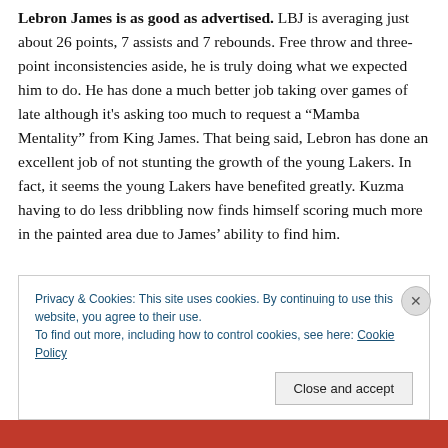Lebron James is as good as advertised. LBJ is averaging just about 26 points, 7 assists and 7 rebounds. Free throw and three-point inconsistencies aside, he is truly doing what we expected him to do. He has done a much better job taking over games of late although it's asking too much to request a “Mamba Mentality” from King James. That being said, Lebron has done an excellent job of not stunting the growth of the young Lakers. In fact, it seems the young Lakers have benefited greatly. Kuzma having to do less dribbling now finds himself scoring much more in the painted area due to James’ ability to find him.
Privacy & Cookies: This site uses cookies. By continuing to use this website, you agree to their use.
To find out more, including how to control cookies, see here: Cookie Policy